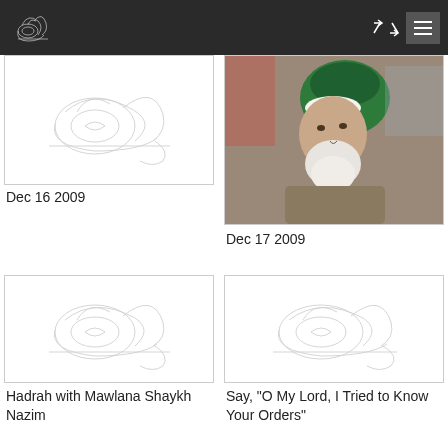[Figure (logo): White Ottoman tughra logo on dark header]
[Figure (illustration): Tughra calligraphic emblem on white background - card top left]
Dec 16 2009
[Figure (photo): Elderly Muslim scholar with green turban and white cap]
Dec 17 2009
[Figure (illustration): Tughra calligraphic emblem on white background - second row left]
Hadrah with Mawlana Shaykh Nazim
[Figure (illustration): Tughra calligraphic emblem on white background - second row right]
Say, "O My Lord, I Tried to Know Your Orders"
[Figure (illustration): Tughra calligraphic emblem - bottom left, partially visible]
[Figure (photo): Person in white Islamic dress - bottom right, partially visible]